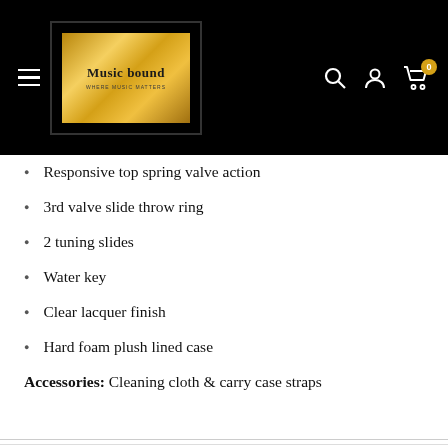[Figure (logo): Music bound store logo on black header background with gold gradient square logo, hamburger menu icon on left, search, account, and cart icons on right with badge showing 0]
Responsive top spring valve action
3rd valve slide throw ring
2 tuning slides
Water key
Clear lacquer finish
Hard foam plush lined case
Accessories: Cleaning cloth & carry case straps